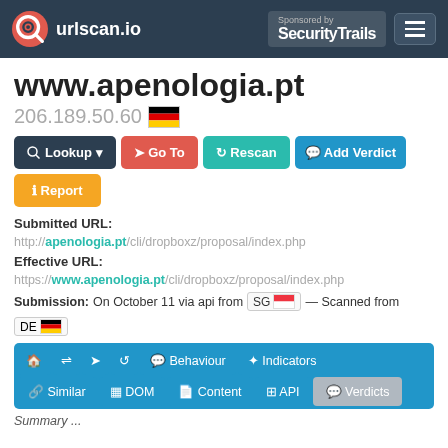urlscan.io — Sponsored by SecurityTrails
www.apenologia.pt
206.189.50.60 [DE flag]
Lookup | Go To | Rescan | Add Verdict | Report
Submitted URL: http://apenologia.pt/cli/dropboxz/proposal/index.php
Effective URL: https://www.apenologia.pt/cli/dropboxz/proposal/index.php
Submission: On October 11 via api from SG [SG flag] — Scanned from DE [DE flag]
Nav: [home] [arrows] [share] [reload] Behaviour | Indicators | Similar | DOM | Content | API | Verdicts